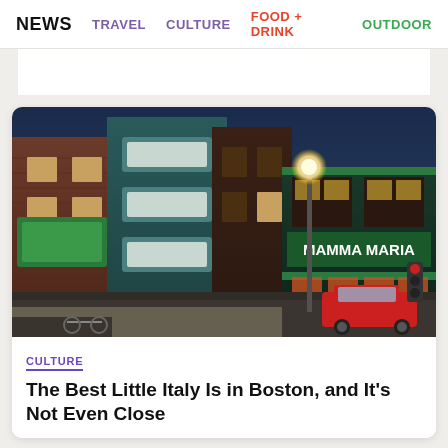NEWS   TRAVEL   CULTURE   FOOD + DRINK   OUTDOOR
[Figure (photo): Nighttime street scene in Boston's North End (Little Italy neighborhood), showing brick buildings, a green bay-windowed building, street lights, a red car, and the Mamma Maria restaurant sign illuminated in green.]
CULTURE
The Best Little Italy Is in Boston, and It's Not Even Close